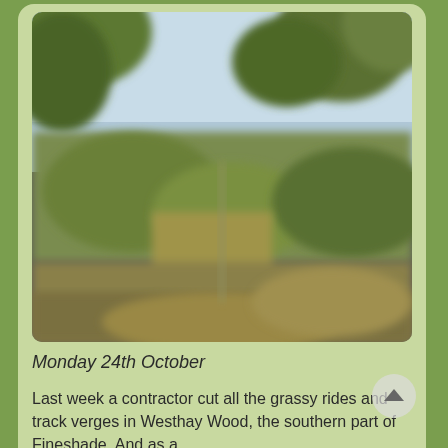[Figure (photo): An outdoor woodland scene showing grassy rides and track verges in Westhay Wood/Fineshade. Trees with green foliage visible against a blue-grey sky. The photo is slightly blurred/out of focus.]
Monday 24th October
Last week a contractor cut all the grassy rides and track verges in Westhay Wood, the southern part of Fineshade. And as a